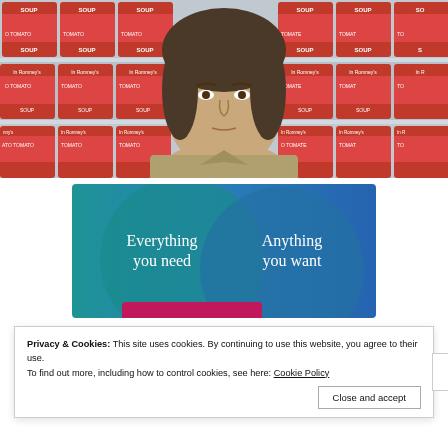[Figure (photo): A person standing in front of shelves stacked with red tomato soup cans (Campbell's style). The person looks directly at the camera with a neutral/surprised expression. The cans have red labels with white text reading 'SOUP' and 'TOMATO' visible multiple times.]
[Figure (infographic): A Venn diagram style advertisement/promo image with teal/blue gradient background. Two overlapping circles: left circle says 'Everything you need' in white serif text, right circle says 'Anything you want' in white serif text. A pink/magenta button is partially visible at the bottom.]
Privacy & Cookies: This site uses cookies. By continuing to use this website, you agree to their use.
To find out more, including how to control cookies, see here: Cookie Policy
Close and accept